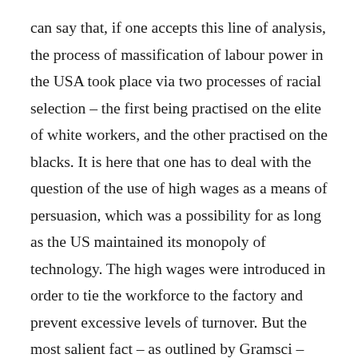can say that, if one accepts this line of analysis, the process of massification of labour power in the USA took place via two processes of racial selection – the first being practised on the elite of white workers, and the other practised on the blacks. It is here that one has to deal with the question of the use of high wages as a means of persuasion, which was a possibility for as long as the US maintained its monopoly of technology. The high wages were introduced in order to tie the workforce to the factory and prevent excessive levels of turnover. But the most salient fact – as outlined by Gramsci – was that many workers rejected the high wages because they were not willing to allow themselves to be super-exploited. "Ford industry requires a discrimination, a level of qualification in its workers which other industries do not yet require, a new kind of qualification, a form of consumption of